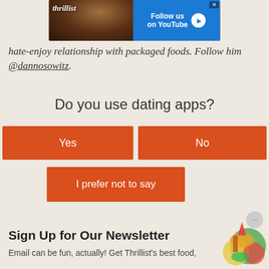[Figure (other): Thrillist advertisement banner with YouTube follow button and photo of person]
hate-enjoy relationship with packaged foods. Follow him @dannosowitz.
Do you use dating apps?
Yes
No
I prefer not to say
Sign Up for Our Newsletter
Email can be fun, actually! Get Thrillist's best food,